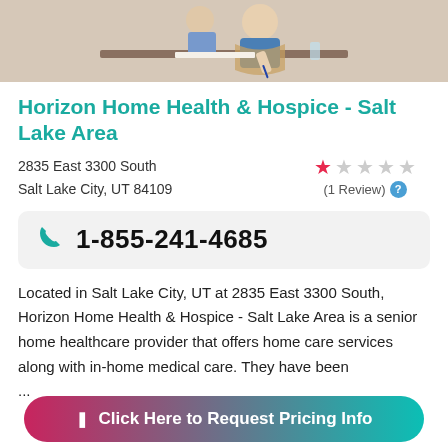[Figure (photo): Photo of an elderly woman signing documents with someone assisting her]
Horizon Home Health & Hospice - Salt Lake Area
2835 East 3300 South
Salt Lake City, UT 84109
1 Review (star rating: 1 out of 5)
1-855-241-4685
Located in Salt Lake City, UT at 2835 East 3300 South, Horizon Home Health & Hospice - Salt Lake Area is a senior home healthcare provider that offers home care services along with in-home medical care. They have been ...
Click Here to Request Pricing Info